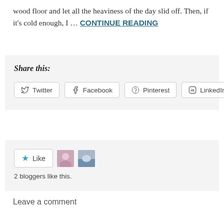wood floor and let all the heaviness of the day slid off. Then, if it's cold enough, I ... CONTINUE READING
Share this:
Twitter  Facebook  Pinterest  LinkedIn
[Figure (screenshot): Like button with star icon and two blogger avatar thumbnails]
2 bloggers like this.
Leave a comment